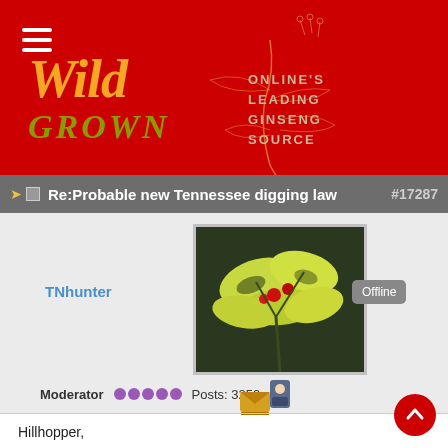[Figure (logo): Wild Grown website header logo on red background with orange italic 'Wild' text, olive 'GROWN' text, decorative ginseng plant illustration, and tagline 'ONLINE'S LEADING GINSENG SOURCE']
Re:Probable new Tennessee digging law #17287
[Figure (photo): Photo of ginseng plant with bright yellow-green leaves and red berries against a dark background]
TNhunter
Offline
Moderator   Posts: 3250
Hillhopper,